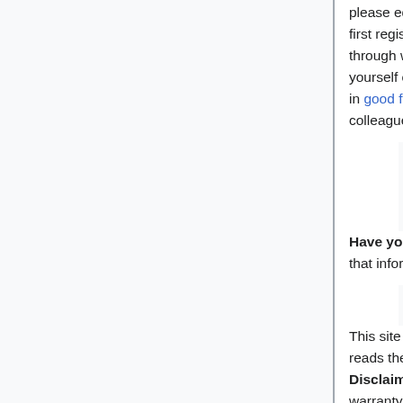please edit this wiki page yourself by clicking "edit" at an appropriate place. It is better to first register, but you can edit by IP number as well. You can contact the moderators through wikimathjob@gmail.com to report evil postings, (e.g. inaccurate information about yourself or other applicants), and other issues. We are interested in information provided in good faith. Do not post wild hunches, and please respect the trust of your friends and colleagues.
Have you accepted a position? If so, it's a great courtesy to other job applicants to post that information here.
This site is currently supported by Matthias Koeppe, Greg Kuperberg, and Tao Mei. Tao reads the e-mail and he will keep the correspondence confidential as appropriate. Disclaimer: There is no guarantee that any information listed here is accurate; no warranty is expressed or implied. UC Davis and the UC Davis Math Department do not endorse this project and disavow any